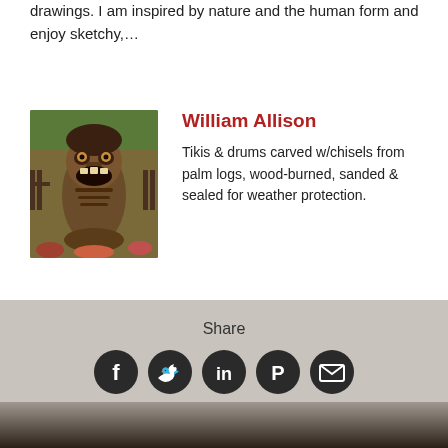drawings. I am inspired by nature and the human form and enjoy sketchy,…
William Allison
Tikis & drums carved w/chisels from palm logs, wood-burned, sanded & sealed for weather protection.
[Figure (photo): Photo of a carved wooden tiki figure with open mouth expression, outdoors against a green background]
1 2 3 4 5 6 7 8 9 … >
Share
[Figure (infographic): Social share icons: Facebook, Twitter, LinkedIn, Pinterest, Email]